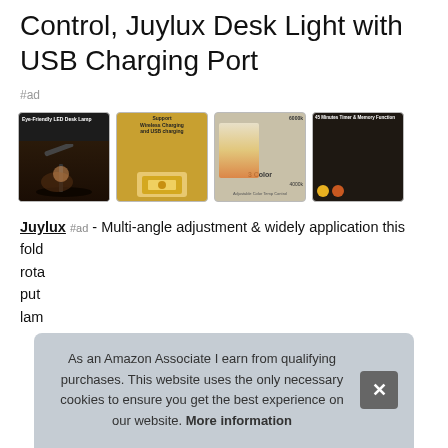Control, Juylux Desk Light with USB Charging Port
#ad
[Figure (photo): Four product thumbnail images of Juylux LED desk lamp showing: (1) woman at desk with dark background, (2) lamp with wireless charging diagram on golden background, (3) lamp in 3 color modes, (4) person sleeping with lamp on timer]
Juylux #ad - Multi-angle adjustment & widely application this fold rota put lam
As an Amazon Associate I earn from qualifying purchases. This website uses the only necessary cookies to ensure you get the best experience on our website. More information